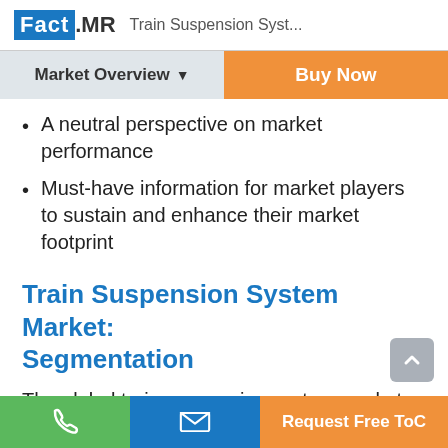Fact.MR  Train Suspension Syst...
Market Overview ▼   Buy Now
A neutral perspective on market performance
Must-have information for market players to sustain and enhance their market footprint
Train Suspension System Market: Segmentation
The global train suspension system market can be segmented by type of element, suspension type and by train type.
📞  ✉  Request Free ToC